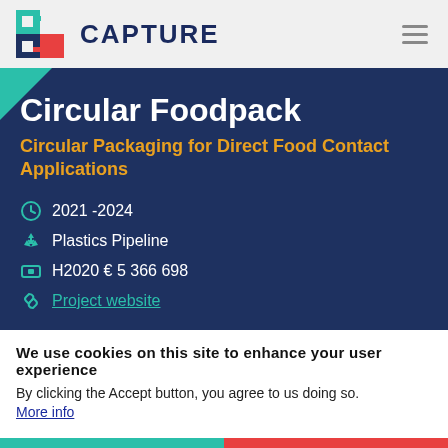CAPTURE
Circular Foodpack
Circular Packaging for Direct Food Contact Applications
2021 -2024
Plastics Pipeline
H2020 € 5 366 698
Project website
We use cookies on this site to enhance your user experience
By clicking the Accept button, you agree to us doing so. More info